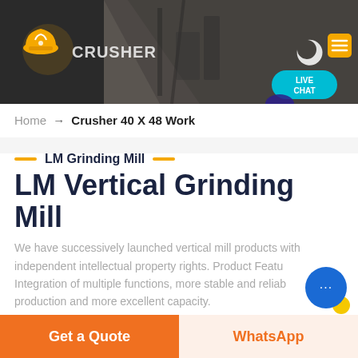[Figure (screenshot): Website header with dark background showing industrial crusher machinery, company logo with hard hat icon, moon/dark mode icon, and yellow hamburger menu button. Live chat bubble in cyan color.]
Home → Crusher 40 X 48 Work
LM Grinding Mill
LM Vertical Grinding Mill
We have successively launched vertical mill products with independent intellectual property rights. Product Features: Integration of multiple functions, more stable and reliable production and more excellent capacity.